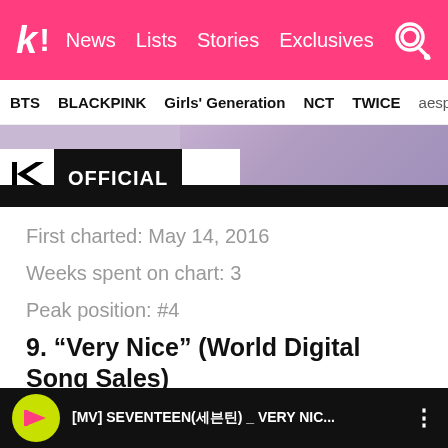k! News Lists Stories Exclusives
BTS BLACKPINK Girls' Generation NCT TWICE aespa
[Figure (screenshot): 1theK Official YouTube channel video thumbnail showing purple-toned visuals with 1theK OFFICIAL badge and black bar below]
First charted: May 14, 2016
Weeks spent on chart: 3
Peak position: #4
9. “Very Nice” (World Digital Song Sales)
[Figure (screenshot): YouTube video thumbnail showing [MV] SEVENTEEN(세븐틴) _ VERY NIC... with 1theK logo circle and three-dot menu]